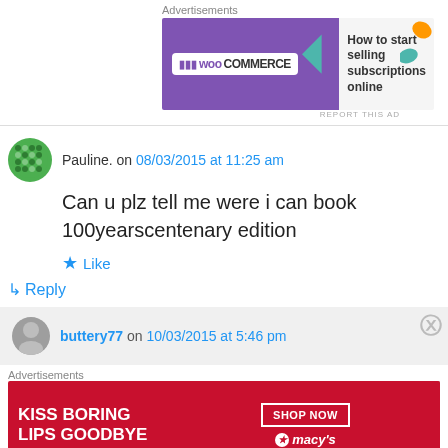Advertisements
[Figure (screenshot): WooCommerce advertisement banner: purple background with WooCommerce logo and text 'How to start selling subscriptions online' with colorful accents]
Pauline. on 08/03/2015 at 11:25 am
Can u plz tell me were i can book 100yearscentenary edition
★ Like
↪ Reply
buttery77 on 10/03/2015 at 5:46 pm
Advertisements
[Figure (screenshot): Macy's advertisement: red background with 'KISS BORING LIPS GOODBYE' text, woman's face with red lipstick, SHOP NOW button and Macy's logo]